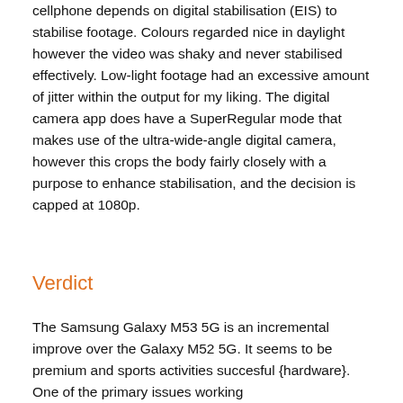cellphone depends on digital stabilisation (EIS) to stabilise footage. Colours regarded nice in daylight however the video was shaky and never stabilised effectively. Low-light footage had an excessive amount of jitter within the output for my liking. The digital camera app does have a SuperRegular mode that makes use of the ultra-wide-angle digital camera, however this crops the body fairly closely with a purpose to enhance stabilisation, and the decision is capped at 1080p.
Verdict
The Samsung Galaxy M53 5G is an incremental improve over the Galaxy M52 5G. It seems to be premium and sports activities succesful {hardware}. One of the primary issues working